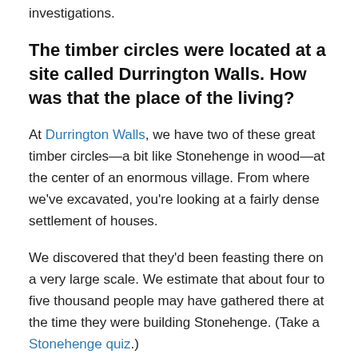investigations.
The timber circles were located at a site called Durrington Walls. How was that the place of the living?
At Durrington Walls, we have two of these great timber circles—a bit like Stonehenge in wood—at the center of an enormous village. From where we've excavated, you're looking at a fairly dense settlement of houses.
We discovered that they'd been feasting there on a very large scale. We estimate that about four to five thousand people may have gathered there at the time they were building Stonehenge. (Take a Stonehenge quiz.)
We also know that there were seasonal influxes into the settlement at Durrington Walls. Through analysis of the